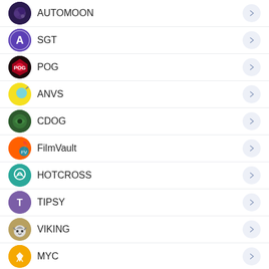AUTOMOON
SGT
POG
ANVS
CDOG
FilmVault
HOTCROSS
TIPSY
VIKING
MYC
VINYL
KOJI